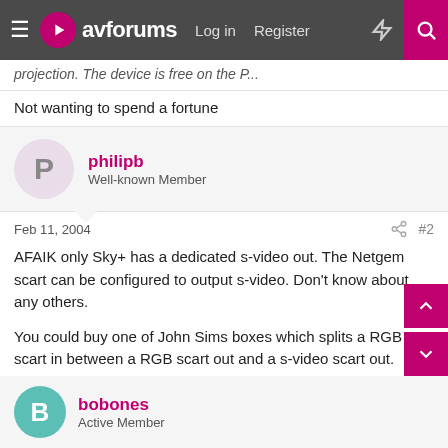avforums — Log in  Register
projection. The device is free on the P...
Not wanting to spend a fortune
philipb
Well-known Member
Feb 11, 2004   #2
AFAIK only Sky+ has a dedicated s-video out. The Netgem scart can be configured to output s-video. Don't know about any others.

You could buy one of John Sims boxes which splits a RGB scart in between a RGB scart out and a s-video scart out. About the same price as a decent freeview box.
bobones
Active Member